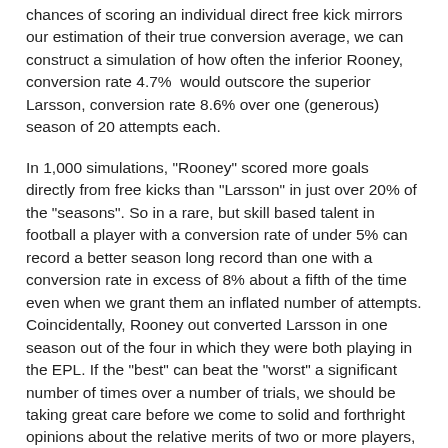chances of scoring an individual direct free kick mirrors our estimation of their true conversion average, we can construct a simulation of how often the inferior Rooney, conversion rate 4.7%  would outscore the superior Larsson, conversion rate 8.6% over one (generous) season of 20 attempts each.
In 1,000 simulations, "Rooney" scored more goals directly from free kicks than "Larsson" in just over 20% of the "seasons". So in a rare, but skill based talent in football a player with a conversion rate of under 5% can record a better season long record than one with a conversion rate in excess of 8% about a fifth of the time even when we grant them an inflated number of attempts. Coincidentally, Rooney out converted Larsson in one season out of the four in which they were both playing in the EPL. If the "best" can beat the "worst" a significant number of times over a number of trials, we should be taking great care before we come to solid and forthright opinions about the relative merits of two or more players, even when those conclusions are backed up with real, but raw data.
In short, raw figures are merely the precursor to evaluating